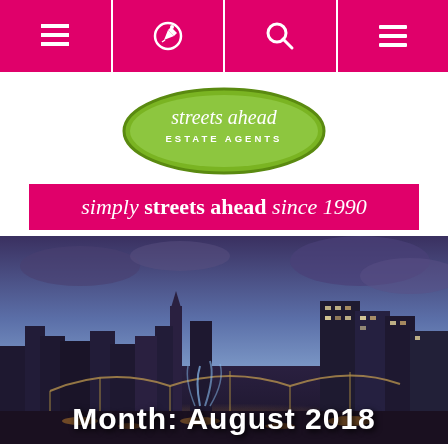[Figure (screenshot): Top navigation bar with four pink icons: list/menu icon, edit/pencil icon, search/magnifying glass icon, hamburger menu icon]
[Figure (logo): Streets Ahead Estate Agents oval green logo with white text]
simply streets ahead since 1990
[Figure (photo): Twilight cityscape photo showing a city skyline with bridges, fountains, and illuminated buildings under a dramatic blue-purple sky]
Month: August 2018